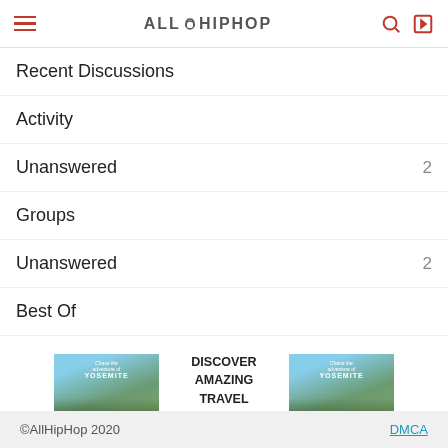ALLHIPHOP
Recent Discussions
Activity
Unanswered  2
Groups
Unanswered  2
Best Of
[Figure (infographic): Advertisement banner for sidestage.com travel with Yosemite mountain imagery, text: DISCOVER AMAZING TRAVEL SIDESTAGE.COM, ezoic badge, and report this ad link]
©AllHipHop 2020   DMCA